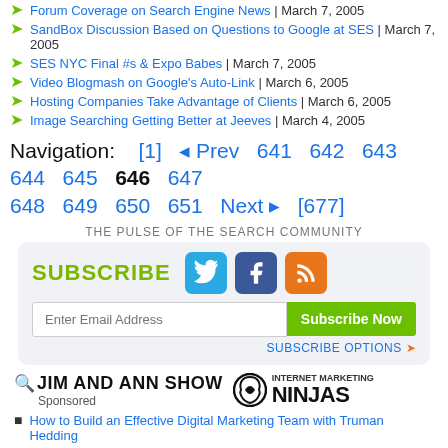Forum Coverage on Search Engine News | March 7, 2005
SandBox Discussion Based on Questions to Google at SES | March 7, 2005
SES NYC Final #s & Expo Babes | March 7, 2005
Video Blogmash on Google's Auto-Link | March 6, 2005
Hosting Companies Take Advantage of Clients | March 6, 2005
Image Searching Getting Better at Jeeves | March 4, 2005
Navigation: [1] < Prev 641 642 643 644 645 646 647 648 649 650 651 Next > [677]
THE PULSE OF THE SEARCH COMMUNITY
[Figure (infographic): Subscribe box with social icons (Twitter, Facebook, RSS), email input field, Subscribe Now button, and Subscribe Options link]
[Figure (logo): Jim and Ann Show logo with search icon, Sponsored text, and Internet Marketing Ninjas logo]
How to Build an Effective Digital Marketing Team with Truman Hedding